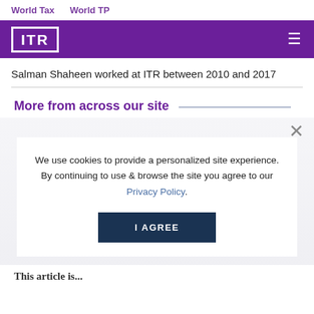World Tax   World TP
[Figure (logo): ITR logo in white on purple background with hamburger menu icon]
Salman Shaheen worked at ITR between 2010 and 2017
More from across our site
We use cookies to provide a personalized site experience. By continuing to use & browse the site you agree to our Privacy Policy.
I AGREE
This article is...